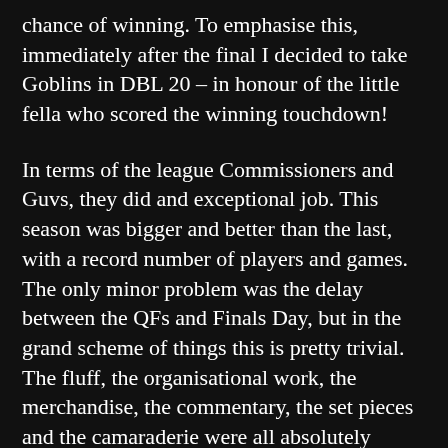chance of winning. To emphasise this, immediately after the final I decided to take Goblins in DBL 20 – in honour of the little fella who scored the winning touchdown!
In terms of the league Commissioners and Guvs, they did and exceptional job. This season was bigger and better than the last, with a record number of players and games. The only minor problem was the delay between the QFs and Finals Day, but in the grand scheme of things this is pretty trivial. The fluff, the organisational work, the merchandise, the commentary, the set pieces and the camaraderie were all absolutely